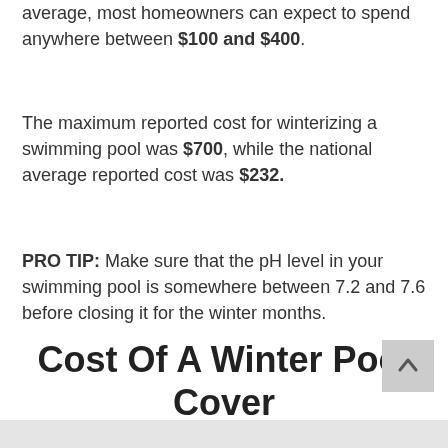average, most homeowners can expect to spend anywhere between $100 and $400.
The maximum reported cost for winterizing a swimming pool was $700, while the national average reported cost was $232.
PRO TIP: Make sure that the pH level in your swimming pool is somewhere between 7.2 and 7.6 before closing it for the winter months.
Cost Of A Winter Pool Cover